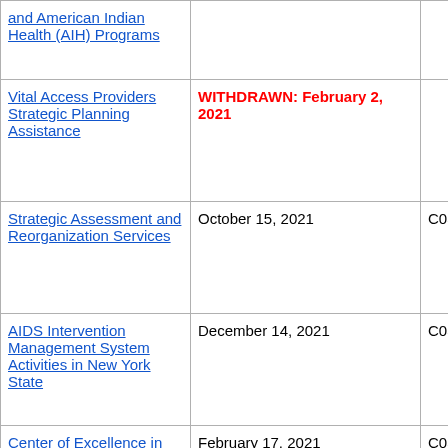| Program Name | Date | Code |
| --- | --- | --- |
| and American Indian Health (AIH) Programs |  |  |
| Vital Access Providers Strategic Planning Assistance | WITHDRAWN: February 2, 2021 |  |
| Strategic Assessment and Reorganization Services | October 15, 2021 | C03... |
| AIDS Intervention Management System Activities in New York State | December 14, 2021 | C03... |
| Center of Excellence in Tobacco Policy | February 17, 2021 | C03... |
| HCRA and HFCAP Performance Audits and Compliance | April 20, 2022 | PA3... |